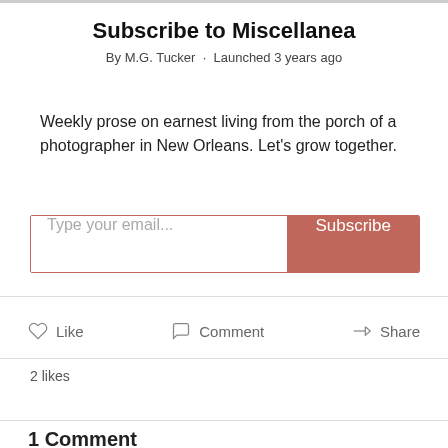Subscribe to Miscellanea
By M.G. Tucker · Launched 3 years ago
Weekly prose on earnest living from the porch of a photographer in New Orleans. Let's grow together.
Type your email... Subscribe
Like  Comment  Share
2 likes
1 Comment